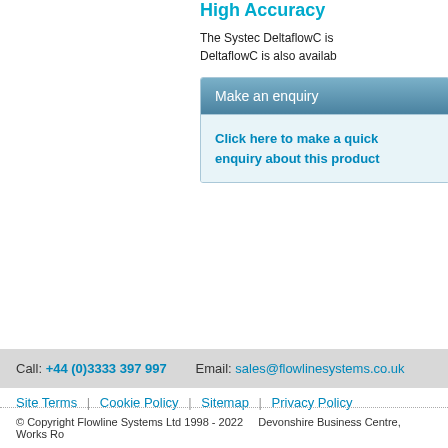High Accuracy
The Systec DeltaflowC is ... DeltaflowC is also availab...
Make an enquiry
Click here to make a quick enquiry about this product
Call: +44 (0)3333 397 997   Email: sales@flowlinesystems.co.uk
Site Terms | Cookie Policy | Sitemap | Privacy Policy
© Copyright Flowline Systems Ltd 1998 - 2022   Devonshire Business Centre, Works Ro...